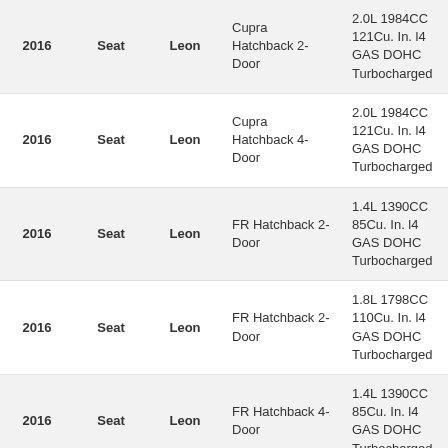| 2016 | Seat | Leon | Cupra Hatchback 2-Door | 2.0L 1984CC 121Cu. In. l4 GAS DOHC Turbocharged |
| 2016 | Seat | Leon | Cupra Hatchback 4-Door | 2.0L 1984CC 121Cu. In. l4 GAS DOHC Turbocharged |
| 2016 | Seat | Leon | FR Hatchback 2-Door | 1.4L 1390CC 85Cu. In. l4 GAS DOHC Turbocharged |
| 2016 | Seat | Leon | FR Hatchback 2-Door | 1.8L 1798CC 110Cu. In. l4 GAS DOHC Turbocharged |
| 2016 | Seat | Leon | FR Hatchback 4-Door | 1.4L 1390CC 85Cu. In. l4 GAS DOHC Turbocharged |
| 2016 | Seat | Leon | FR Hatchback 4-Door | 1.8L 1798CC 110Cu. In. l4 GAS DOHC Turbocharged |
| 2016 | Seat | Leon | Style Hatchback 2-Door | 1.4L 1390CC 85Cu. In. l4 GAS DOHC Turbocharged |
| 2016 | Seat | Leon | Style Hatchback 2-Door | 1.4L 1395CC 85Cu. In. l4 GAS DOHC Turbocharged |